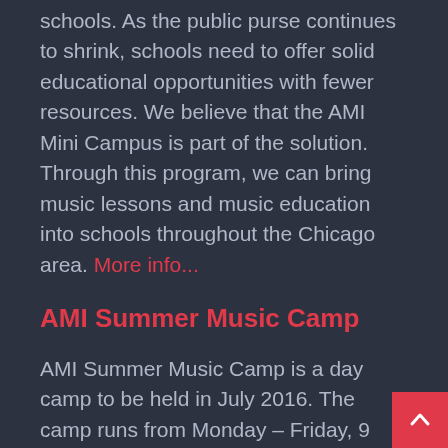schools. As the public purse continues to shrink, schools need to offer solid educational opportunities with fewer resources. We believe that the AMI Mini Campus is part of the solution. Through this program, we can bring music lessons and music education into schools throughout the Chicago area. More info...
AMI Summer Music Camp
AMI Summer Music Camp is a day camp to be held in July 2016. The camp runs from Monday – Friday, 9 a.m. – 3 p.m., with aftercare available from 3 – 5:30 p.m. The camp is held at American Music Institute's Clarendon Hills Campus, located 20 minutes west of downtown Chicago. The camp is open to all instruments and levels of students.